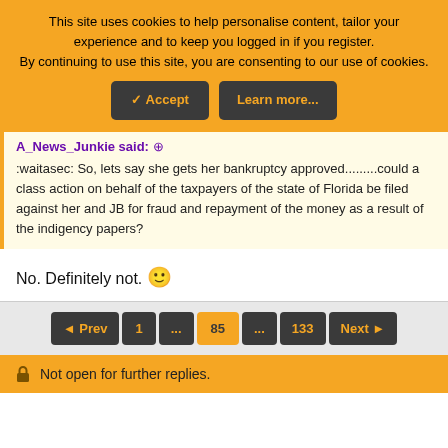This site uses cookies to help personalise content, tailor your experience and to keep you logged in if you register. By continuing to use this site, you are consenting to our use of cookies.
✓ Accept | Learn more...
A_News_Junkie said:
:waitasec: So, lets say she gets her bankruptcy approved.........could a class action on behalf of the taxpayers of the state of Florida be filed against her and JB for fraud and repayment of the money as a result of the indigency papers?
No. Definitely not. 🙂
◄ Prev  1  ...  85  ...  133  Next ►
🔒 Not open for further replies.